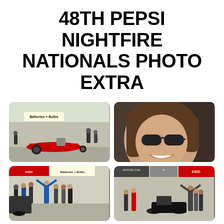48TH PEPSI NIGHTFIRE NATIONALS PHOTO EXTRA
[Figure (photo): Red dragster on track at drag racing event, spectators and crew in background, Batteries+Bulbs signage visible]
[Figure (photo): Smiling woman with sunglasses at motorsports event, close-up portrait]
[Figure (photo): Group of people celebrating at drag racing event, Batteries+Bulbs and Kidd Performance signage, winner raising hands]
[Figure (photo): Group at motorsports event near motorcycle, KIDD Performance and Motors.com signage visible]